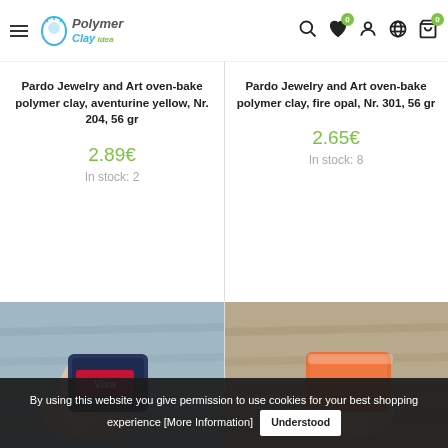Polymer Clay Idea - navigation header with icons
Pardo Jewelry and Art oven-bake polymer clay, aventurine yellow, Nr. 204, 56 gr
2.89€
In stock: 2
Pardo Jewelry and Art oven-bake polymer clay, fire opal, Nr. 301, 56 gr
2.65€
In stock: 8
[Figure (photo): Hand holding a dark blue Viva product block]
[Figure (photo): Hand holding an orange polymer clay block]
By using this website you give permission to use cookies for your best shopping experience [More Information] Understood